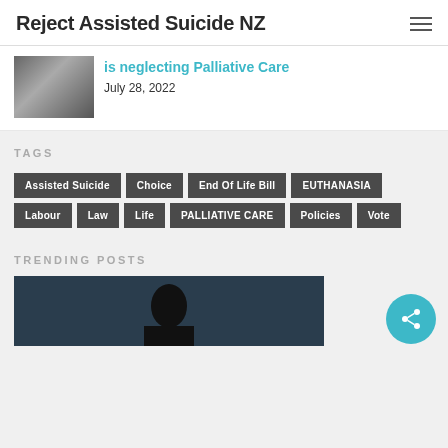Reject Assisted Suicide NZ
is neglecting Palliative Care
July 28, 2022
TAGS
Assisted Suicide
Choice
End Of Life Bill
EUTHANASIA
Labour
Law
Life
PALLIATIVE CARE
Policies
Vote
TRENDING POSTS
[Figure (photo): Dark photo of person with head bowed, used as trending post thumbnail]